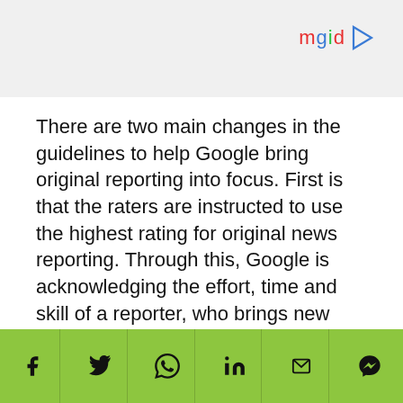[Figure (logo): mgid logo with colorful letter accents and play button triangle]
There are two main changes in the guidelines to help Google bring original reporting into focus. First is that the raters are instructed to use the highest rating for original news reporting. Through this, Google is acknowledging the effort, time and skill of a reporter, who brings new information to the readers that would not have otherwise known.
The second highlight in the updated guidelines for Search reviewers is to consider the publisher's reputation for original reporting.
[Figure (screenshot): Black video player area with red play button triangle]
[Figure (infographic): Green social sharing bar with icons: Facebook, Twitter, WhatsApp, LinkedIn, Email, Messenger]